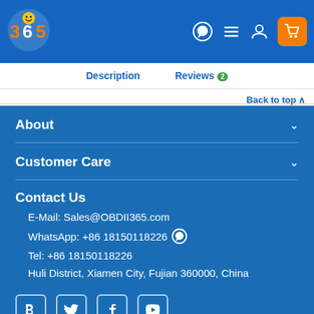[Figure (logo): 365 logo with smiley face on blue header background]
Description  Reviews 2  Back to top
About
Customer Care
Contact Us
E-Mail: Sales@OBDII365.com
WhatsApp: +86 18150118226
Tel: +86 18150118226
Huli District, Xiamen City, Fujian 360000, China
[Figure (other): Social media icons: Blogger, Twitter, Facebook, YouTube]